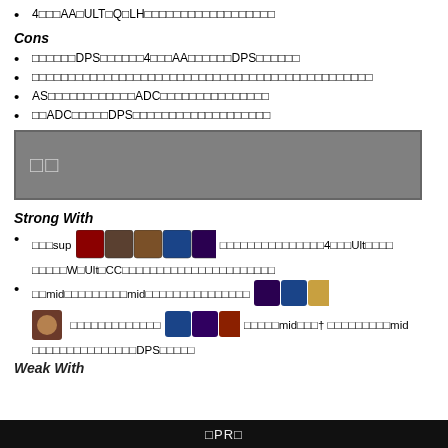4□□□AA□ULT□Q□LH□□□□□□□□□□□□□□□□□□
Cons
□□□□□□DPS□□□□□□4□□□AA□□□□□□□DPS□□□□□□
□□□□□□□□□□□□□□□□□□□□□□□□□□□□□□□□□□□□□□□□□□□□□
AS□□□□□□□□□□□□ADC□□□□□□□□□□□□□□□□□□
□□ADC□□□□□DPS□□□□□□□□□□□□□□□□□□□□□□
[Figure (other): Gray section header box with light text characters]
Strong With
□□□sup[champion icons]□□□□□□□□□□□□□□□□4□□□Ult□□□□□□□□□W□Ult□CC□□□□□□□□□□□□□□□□□□□□□□□□
□□mid□□□□□□□□□□mid□□□□□□□□□□□□□□□□□□□[champion icons]□□□□□□□□□□□□[icon]□□□□□□□□[champion icons]□□□□□mid□□□†□□□□□□□□□mid□□□□□□□□□□□□□□□DPS□□□□□
Weak With
□PR□